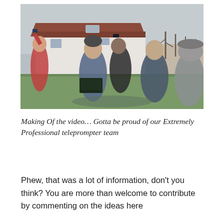[Figure (photo): Outdoor photograph of a group of people holding smartphones and a laptop, appearing to improvise a teleprompter setup, standing in front of a white building with a red-tiled roof and green lawn, on an overcast winter day.]
Making Of the video… Gotta be proud of our Extremely Professional teleprompter team
Phew, that was a lot of information, don't you think? You are more than welcome to contribute by commenting on the ideas here